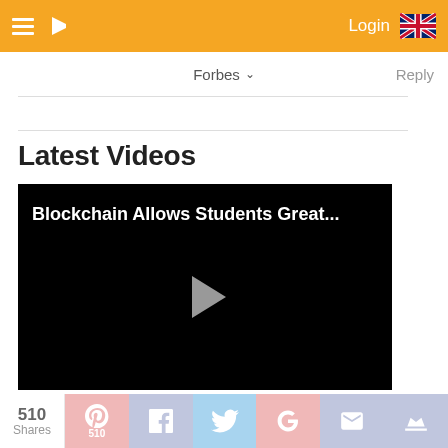Login
Forbes ▾   Reply
Latest Videos
[Figure (screenshot): Video player with black background showing title 'Blockchain Allows Students Great...' and a grey play button triangle in the center]
510 Shares